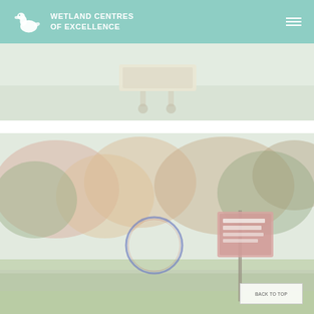WETLAND CENTRES OF EXCELLENCE
[Figure (photo): Outdoor photo showing a white rectangular planter or trough on a wheeled stand in a misty, green outdoor environment]
[Figure (photo): Outdoor photo showing a park or garden with colorful autumn trees, a circular ring sculpture, a Howersville brand wetland sign on a post, and a back-to-top button overlay in the lower right corner]